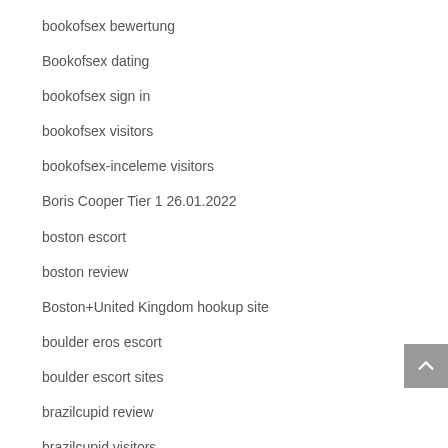bookofsex bewertung
Bookofsex dating
bookofsex sign in
bookofsex visitors
bookofsex-inceleme visitors
Boris Cooper Tier 1 26.01.2022
boston escort
boston review
Boston+United Kingdom hookup site
boulder eros escort
boulder escort sites
brazilcupid review
brazilcupid visitors
brazilcupid-recenze Recenze